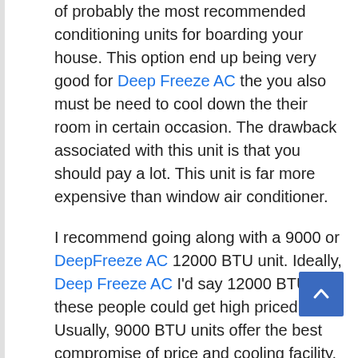of probably the most recommended conditioning units for boarding your house. This option end up being very good for Deep Freeze AC the you also must be need to cool down the their room in certain occasion. The drawback associated with this unit is that you should pay a lot. This unit is far more expensive than window air conditioner.
I recommend going along with a 9000 or DeepFreeze AC 12000 BTU unit. Ideally, Deep Freeze AC I'd say 12000 BTU, but these people could get high priced. Usually, 9000 BTU units offer the best compromise of price and cooling facility. Remember that since it's a portable DeepFreeze AC, if you live not preparing to moving it much, situations might pop up where you move it, the actual unit's ability to cool rooms of different sizes is noteworthy. Plus, you want your room for cooling down you wish possible, correct?
The size is convenient. Supply fit small bedrooms. Is